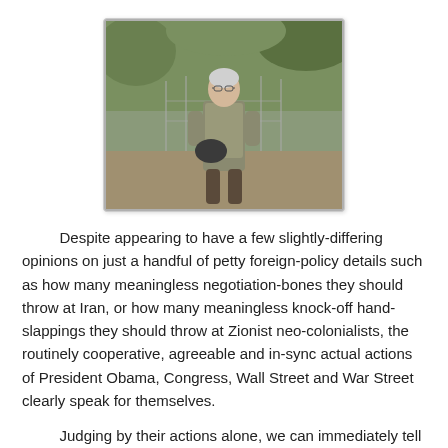[Figure (photo): Elderly person standing outdoors near a chain-link fence, wearing a vest and holding something, with trees in the background.]
Despite appearing to have a few slightly-differing opinions on just a handful of petty foreign-policy details such as how many meaningless negotiation-bones they should throw at Iran, or how many meaningless knock-off hand-slappings they should throw at Zionist neo-colonialists, the routinely cooperative, agreeable and in-sync actual actions of President Obama, Congress, Wall Street and War Street clearly speak for themselves.
Judging by their actions alone, we can immediately tell that Obama, Congress, Wall Street and War Street are clearly in strong, almost-total agreement regarding their basic foreign-policy vision for America.  Hey, goodie for them.
However, unfortunately for the rest of us Americans who are actually